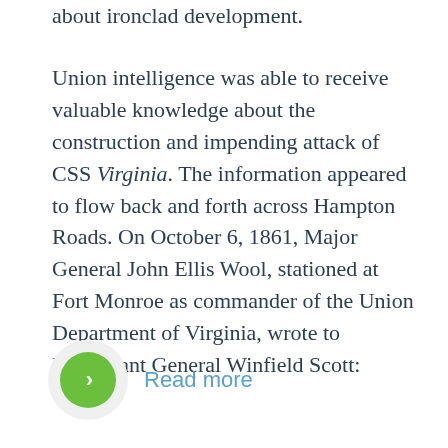about ironclad development.
Union intelligence was able to receive valuable knowledge about the construction and impending attack of CSS Virginia. The information appeared to flow back and forth across Hampton Roads. On October 6, 1861, Major General John Ellis Wool, stationed at Fort Monroe as commander of the Union Department of Virginia, wrote to Lieutenant General Winfield Scott:
Read more